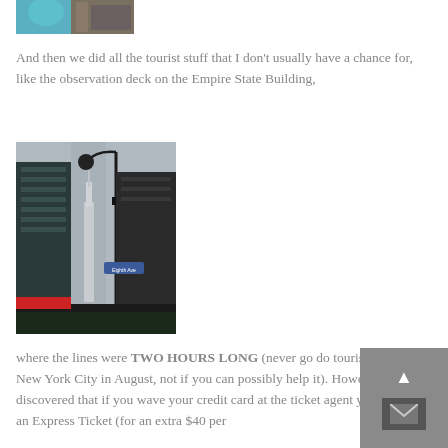[Figure (photo): Partial view of a person against a teal/brick wall background, cropped at top of page]
And then we did all the tourist stuff that I don't usually have a chance for, like the observation deck on the Empire State Building,
[Figure (photo): Street-level photo looking up at the Empire State Building between tall buildings, with a street lamp in the foreground and a street sign reading Eighth Ave]
where the lines were TWO HOURS LONG (never go do tourist stuff in New York City in August, not if you can possibly help it). However, I discovered that if you wave your credit card at the ticket agent you can buy an Express Ticket (for an extra $40 per